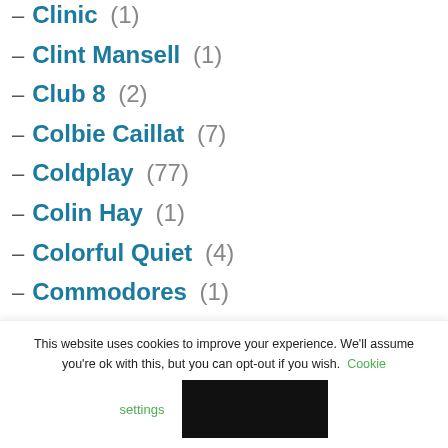– Clinic (1)
– Clint Mansell (1)
– Club 8 (2)
– Colbie Caillat (7)
– Coldplay (77)
– Colin Hay (1)
– Colorful Quiet (4)
– Commodores (1)
– Cool De Bag... (1)
This website uses cookies to improve your experience. We'll assume you're ok with this, but you can opt-out if you wish. Cookie settings